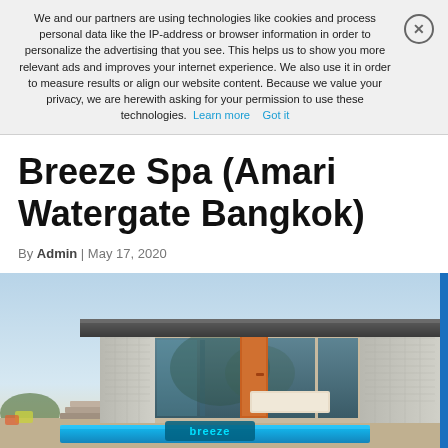We and our partners are using technologies like cookies and process personal data like the IP-address or browser information in order to personalize the advertising that you see. This helps us to show you more relevant ads and improves your internet experience. We also use it in order to measure results or align our website content. Because we value your privacy, we are herewith asking for your permission to use these technologies. Learn more   Got it
Breeze Spa (Amari Watergate Bangkok)
By Admin | May 17, 2020
[Figure (photo): Exterior photo of Breeze Spa at Amari Watergate Bangkok. Modern low-rise building with large glass windows, an orange accent door, mosaic tile cladding, stone steps, and a blue illuminated pool at the base. The 'breeze' logo is displayed in cyan on the front facade. Taken at dusk/twilight.]